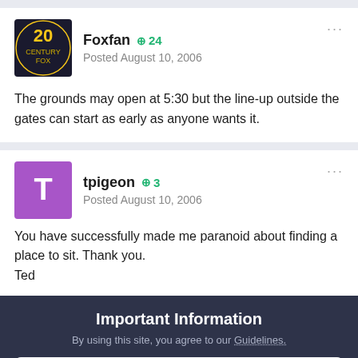Foxfan  +24
Posted August 10, 2006
The grounds may open at 5:30 but the line-up outside the gates can start as early as anyone wants it.
tpigeon  +3
Posted August 10, 2006
You have successfully made me paranoid about finding a place to sit. Thank you.
Ted
Important Information
By using this site, you agree to our Guidelines.
✓  I accept